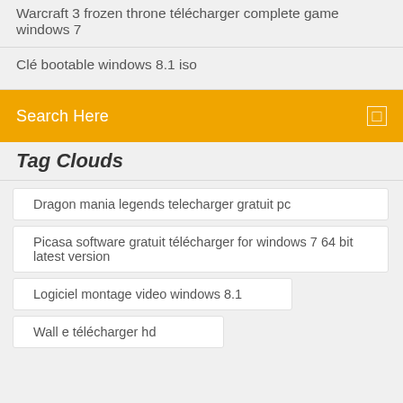Warcraft 3 frozen throne télécharger complete game windows 7
Clé bootable windows 8.1 iso
Search Here
Tag Clouds
Dragon mania legends telecharger gratuit pc
Picasa software gratuit télécharger for windows 7 64 bit latest version
Logiciel montage video windows 8.1
Wall e télécharger hd